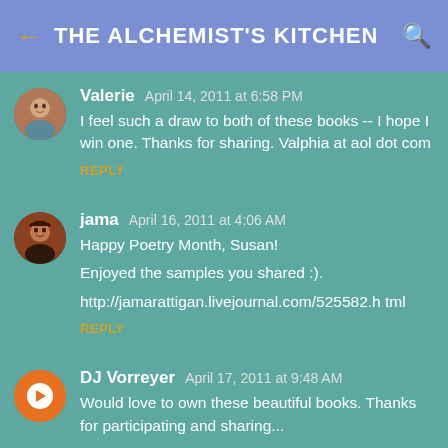THE ALCHEMIST'S KITCHEN
Valerie  April 14, 2011 at 6:58 PM
I feel such a draw to both of these books -- I hope I win one. Thanks for sharing. Valphia at aol dot com
REPLY
jama  April 16, 2011 at 4:06 AM
Happy Poetry Month, Susan!
Enjoyed the samples you shared :).
http://jamarattigan.livejournal.com/525582.html
REPLY
DJ Vorreyer  April 17, 2011 at 9:48 AM
Would love to own these beautiful books. Thanks for participating and sharing...